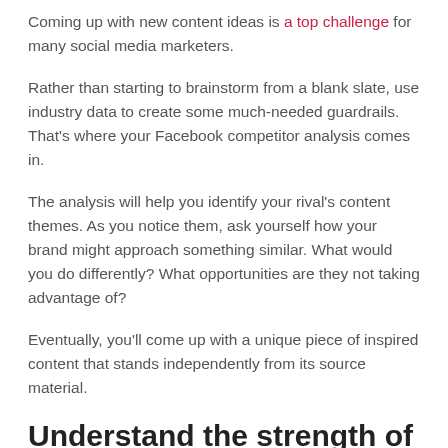Coming up with new content ideas is a top challenge for many social media marketers.
Rather than starting to brainstorm from a blank slate, use industry data to create some much-needed guardrails. That's where your Facebook competitor analysis comes in.
The analysis will help you identify your rival's content themes. As you notice them, ask yourself how your brand might approach something similar. What would you do differently? What opportunities are they not taking advantage of?
Eventually, you'll come up with a unique piece of inspired content that stands independently from its source material.
Understand the strength of customer service efforts
More than half of US consumers turn to Facebook the most